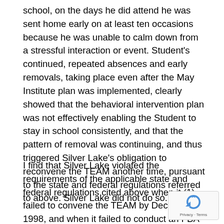school, on the days he did attend he was sent home early on at least ten occasions because he was unable to calm down from a stressful interaction or event. Student's continued, repeated absences and early removals, taking place even after the May Institute plan was implemented, clearly showed that the behavioral intervention plan was not effectively enabling the Student to stay in school consistently, and that the pattern of removal was continuing, and thus triggered Silver Lake's obligation to reconvene the TEAM another time, pursuant to the state and federal regulations referred to above. Silver Lake did not do so.
I find that Silver Lake violated the requirements of the applicable state and federal regulations cited above when it (1) failed to convene the TEAM by December 1998, and when it failed to conduct an FBA within ten business days thereafter; and, (2) failed to reconvene the...